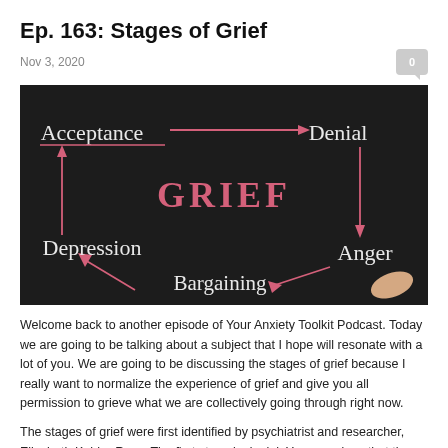Ep. 163: Stages of Grief
Nov 3, 2020
[Figure (photo): Chalkboard diagram showing the five stages of grief (Acceptance, Denial, Anger, Bargaining, Depression) connected by pink chalk arrows in a cycle around the word GRIEF in the center. A hand pointing at Bargaining is visible.]
Welcome back to another episode of Your Anxiety Toolkit Podcast. Today we are going to be talking about a subject that I hope will resonate with a lot of you. We are going to be discussing the stages of grief because I really want to normalize the experience of grief and give you all permission to grieve what we are collectively going through right now.
The stages of grief were first identified by psychiatrist and researcher, Elisabeth Kubler-Ross. The first stage is denial. You may deny that the event happened, or deny your feelings, or you isolate away from people so that you